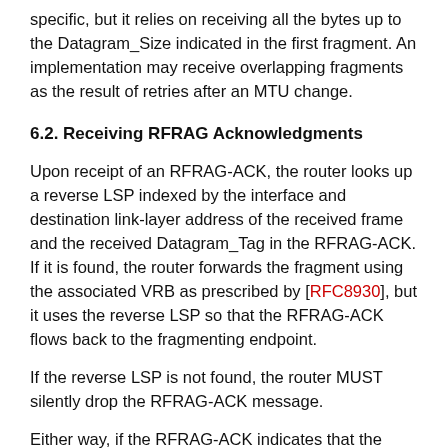specific, but it relies on receiving all the bytes up to the Datagram_Size indicated in the first fragment. An implementation may receive overlapping fragments as the result of retries after an MTU change.
6.2. Receiving RFRAG Acknowledgments
Upon receipt of an RFRAG-ACK, the router looks up a reverse LSP indexed by the interface and destination link-layer address of the received frame and the received Datagram_Tag in the RFRAG-ACK. If it is found, the router forwards the fragment using the associated VRB as prescribed by [RFC8930], but it uses the reverse LSP so that the RFRAG-ACK flows back to the fragmenting endpoint.
If the reverse LSP is not found, the router MUST silently drop the RFRAG-ACK message.
Either way, if the RFRAG-ACK indicates that the fragment was entirely received (FULL bitmap), it arms a short timer, and upon timeout, the VRB and all the associated states are